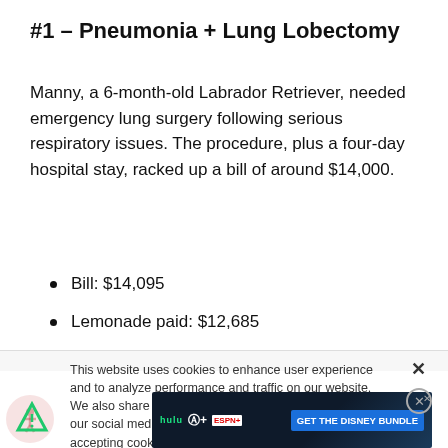#1 – Pneumonia + Lung Lobectomy
Manny, a 6-month-old Labrador Retriever, needed emergency lung surgery following serious respiratory issues. The procedure, plus a four-day hospital stay, racked up a bill of around $14,000.
Bill: $14,095
Lemonade paid: $12,685
This website uses cookies to enhance user experience and to analyze performance and traffic on our website. We also share information about your use of our site with our social media, advertising and analytics partners. By accepting cookies, you are also agreeing to accept our site terms and conditions. Terms & Conditions
[Figure (screenshot): Disney Bundle advertisement banner with Hulu, Disney+, ESPN+ logos and 'GET THE DISNEY BUNDLE' call to action button]